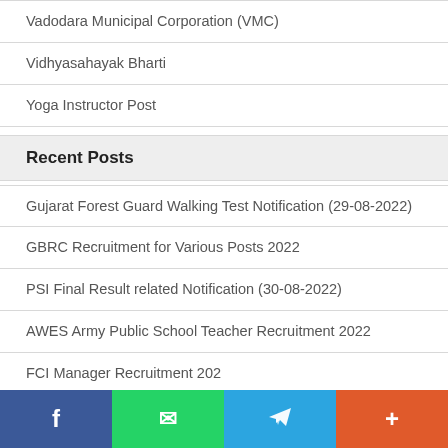Vadodara Municipal Corporation (VMC)
Vidhyasahayak Bharti
Yoga Instructor Post
Recent Posts
Gujarat Forest Guard Walking Test Notification (29-08-2022)
GBRC Recruitment for Various Posts 2022
PSI Final Result related Notification (30-08-2022)
AWES Army Public School Teacher Recruitment 2022
FCI Manager Recruitment 202